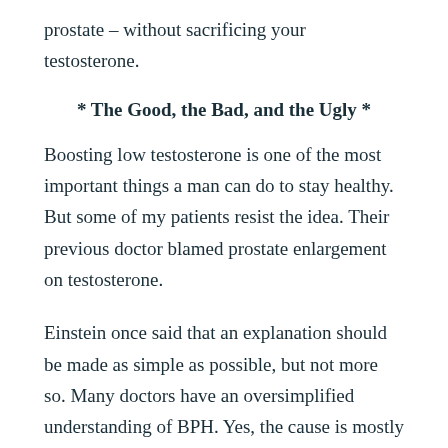prostate – without sacrificing your testosterone.
* The Good, the Bad, and the Ugly *
Boosting low testosterone is one of the most important things a man can do to stay healthy. But some of my patients resist the idea. Their previous doctor blamed prostate enlargement on testosterone.
Einstein once said that an explanation should be made as simple as possible, but not more so. Many doctors have an oversimplified understanding of BPH. Yes, the cause is mostly hormonal, but not